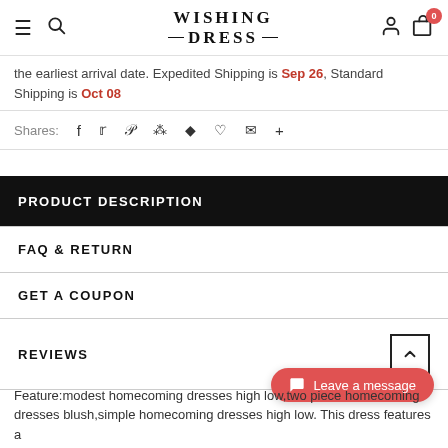WISHING DRESS
the earliest arrival date. Expedited Shipping is Sep 26, Standard Shipping is Oct 08
Shares:
PRODUCT DESCRIPTION
FAQ & RETURN
GET A COUPON
REVIEWS
Feature:modest homecoming dresses high low,two piece homecoming dresses blush,simple homecoming dresses high low. This dress features a